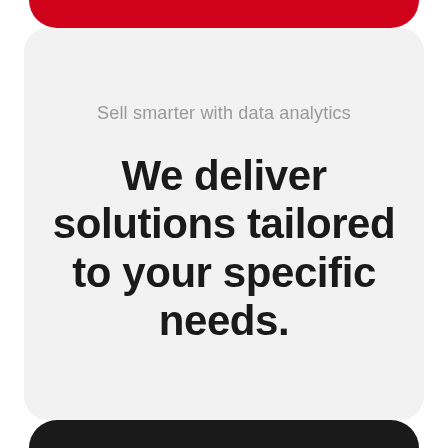Sell smarter with data analytics
We deliver solutions tailored to your specific needs.